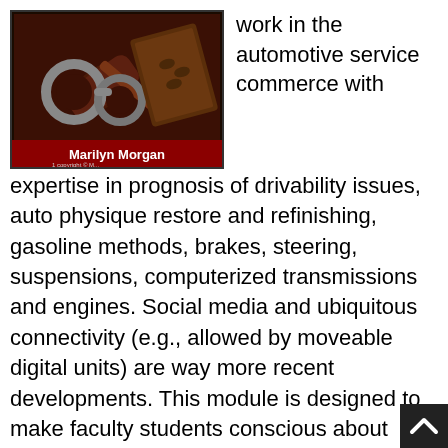[Figure (photo): Book cover showing a judge's gavel, handcuffs, and what appears to be chocolate bars or books, with the author name 'Marilyn Morgan' shown on the cover.]
work in the automotive service commerce with expertise in prognosis of drivability issues, auto physique restore and refinishing, gasoline methods, brakes, steering, suspensions, computerized transmissions and engines. Social media and ubiquitous connectivity (e.g., allowed by moveable digital units) are way more recent developments. This module is designed to make faculty students conscious about worldwide monetary markets and establishments. Backside line: A watch-opening, fascinating method to discover the world from a personal perspective; college students will find out about geography